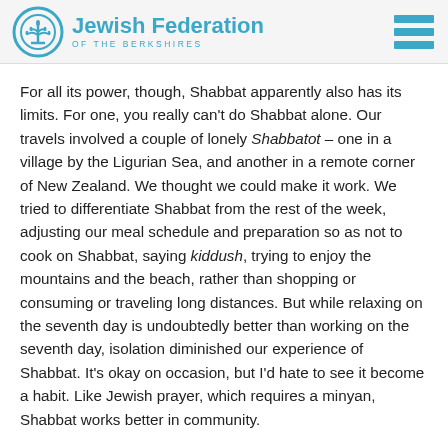Jewish Federation OF THE BERKSHIRES
For all its power, though, Shabbat apparently also has its limits. For one, you really can't do Shabbat alone. Our travels involved a couple of lonely Shabbatot – one in a village by the Ligurian Sea, and another in a remote corner of New Zealand. We thought we could make it work. We tried to differentiate Shabbat from the rest of the week, adjusting our meal schedule and preparation so as not to cook on Shabbat, saying kiddush, trying to enjoy the mountains and the beach, rather than shopping or consuming or traveling long distances. But while relaxing on the seventh day is undoubtedly better than working on the seventh day, isolation diminished our experience of Shabbat. It's okay on occasion, but I'd hate to see it become a habit. Like Jewish prayer, which requires a minyan, Shabbat works better in community.
The synagogue, as an institution, can only take Shabbat so far